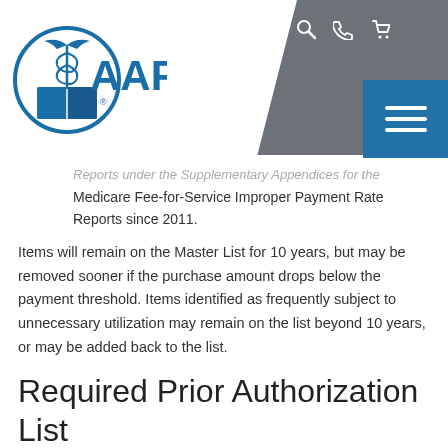AAPC
Reports under the Supplementary Appendices for the Medicare Fee-for-Service Improper Payment Rate Reports since 2011.
Items will remain on the Master List for 10 years, but may be removed sooner if the purchase amount drops below the payment threshold. Items identified as frequently subject to unnecessary utilization may remain on the list beyond 10 years, or may be added back to the list.
Required Prior Authorization List
Items that appear on the Master List do not automatically require prior authorization. CMS will initially implement prior authorization for a subset of items on the Master List, referred to as “Required Prior Authorization List.” Prior authorization will be required for those DMEPOS items on